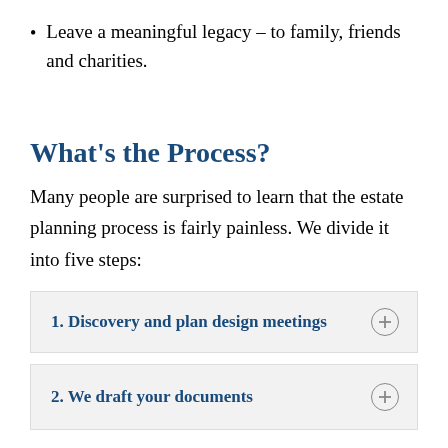Leave a meaningful legacy – to family, friends and charities.
What's the Process?
Many people are surprised to learn that the estate planning process is fairly painless. We divide it into five steps:
1. Discovery and plan design meetings
2. We draft your documents